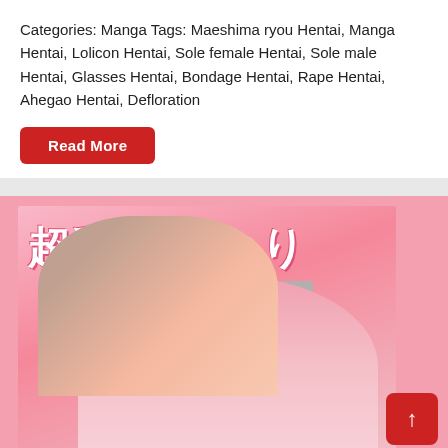Categories: Manga Tags: Maeshima ryou Hentai, Manga Hentai, Lolicon Hentai, Sole female Hentai, Sole male Hentai, Glasses Hentai, Bondage Hentai, Rape Hentai, Ahegao Hentai, Defloration
[Figure (other): Red 'Read More' button]
[Figure (illustration): Manga cover image with Japanese text '超乳ふたなり' and anime illustration on pink background]